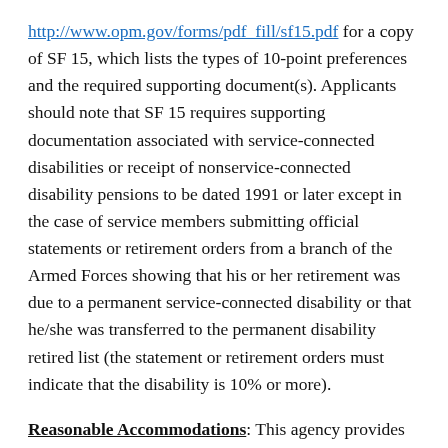http://www.opm.gov/forms/pdf_fill/sf15.pdf for a copy of SF 15, which lists the types of 10-point preferences and the required supporting document(s). Applicants should note that SF 15 requires supporting documentation associated with service-connected disabilities or receipt of nonservice-connected disability pensions to be dated 1991 or later except in the case of service members submitting official statements or retirement orders from a branch of the Armed Forces showing that his or her retirement was due to a permanent service-connected disability or that he/she was transferred to the permanent disability retired list (the statement or retirement orders must indicate that the disability is 10% or more).
Reasonable Accommodations: This agency provides reasonable accommodation to applicants with disabilities...